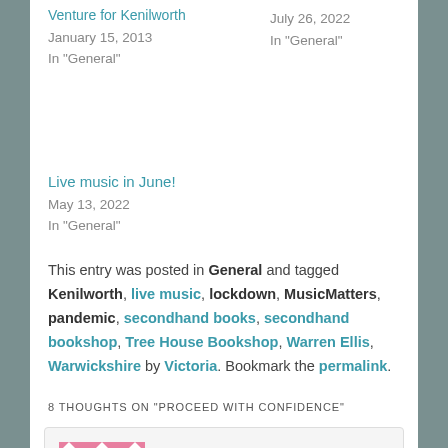Venture for Kenilworth
January 15, 2013
In "General"
July 26, 2022
In "General"
Live music in June!
May 13, 2022
In "General"
This entry was posted in General and tagged Kenilworth, live music, lockdown, MusicMatters, pandemic, secondhand books, secondhand bookshop, Tree House Bookshop, Warren Ellis, Warwickshire by Victoria. Bookmark the permalink.
8 THOUGHTS ON “PROCEED WITH CONFIDENCE”
[Figure (illustration): Pink and white geometric quilt-pattern avatar image for commenter Kate Mier]
Kate Mier on March 23, 2021 at 16:03 said:
Well said! Go for it Kate.